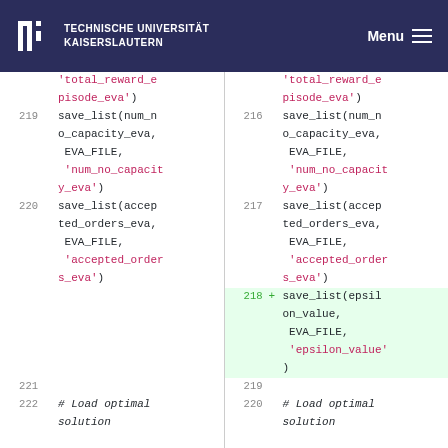TECHNISCHE UNIVERSITÄT KAISERSLAUTERN  Menu
[Figure (screenshot): Code diff view showing two panels of Python code. Left panel shows lines 219-222 with save_list calls for num_no_capacity_eva, accepted_orders_eva, and a comment Load optimal solution. Right panel shows lines 216-220 with same save_list calls plus an added line 218 for save_list(epsilon_value, EVA_FILE, 'epsilon_value') highlighted in green.]